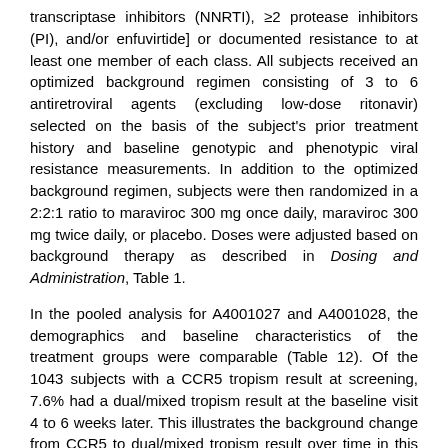transcriptase inhibitors (NNRTI), ≥2 protease inhibitors (PI), and/or enfuvirtide] or documented resistance to at least one member of each class. All subjects received an optimized background regimen consisting of 3 to 6 antiretroviral agents (excluding low-dose ritonavir) selected on the basis of the subject's prior treatment history and baseline genotypic and phenotypic viral resistance measurements. In addition to the optimized background regimen, subjects were then randomized in a 2:2:1 ratio to maraviroc 300 mg once daily, maraviroc 300 mg twice daily, or placebo. Doses were adjusted based on background therapy as described in Dosing and Administration, Table 1.
In the pooled analysis for A4001027 and A4001028, the demographics and baseline characteristics of the treatment groups were comparable (Table 12). Of the 1043 subjects with a CCR5 tropism result at screening, 7.6% had a dual/mixed tropism result at the baseline visit 4 to 6 weeks later. This illustrates the background change from CCR5 to dual/mixed tropism result over time in this treatment-experienced population, prior to a change in antiretroviral regimen or administration of a CCR5 co-receptor antagonist.
Table 12 Demographic and Baseline Characteristics of Subjects in Studies A4001027 and A4001028